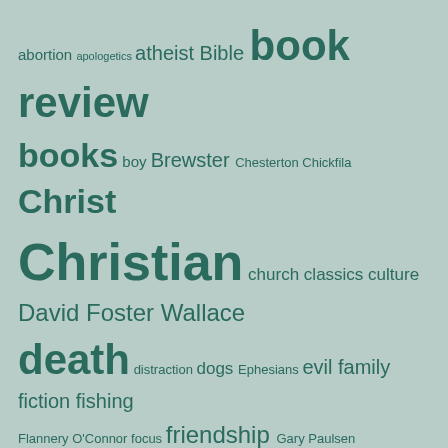[Figure (infographic): Tag cloud / word cloud with topics related to religion, literature, and culture. Words displayed in varying sizes in dark teal color on a sage green background. Larger words indicate higher frequency/importance: book review, Christ, Christian, death, God, Jesus, Hemingway, James, social media, scripture, Proverbs, reading, reflections, Literature, Orwell, Paul, politics, Shakespeare, Salinger, friends, friendship, books, atheist, Bible, marriage, military.]